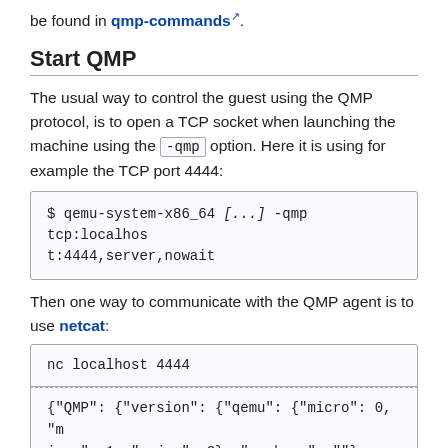be found in qmp-commands.
Start QMP
The usual way to control the guest using the QMP protocol, is to open a TCP socket when launching the machine using the -qmp option. Here it is using for example the TCP port 4444:
$ qemu-system-x86_64 [...] -qmp tcp:localhost:4444,server,nowait
Then one way to communicate with the QMP agent is to use netcat:
nc localhost 4444
{"QMP": {"version": {"qemu": {"micro": 0, "minor": 1, "major": 3}, "package": ""}, "capabilities": [] }
At this stage, the only command that can be recognized is